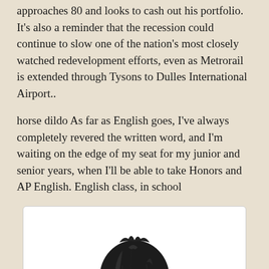approaches 80 and looks to cash out his portfolio. It's also a reminder that the recession could continue to slow one of the nation's most closely watched redevelopment efforts, even as Metrorail is extended through Tysons to Dulles International Airport..
horse dildo As far as English goes, I've always completely revered the written word, and I'm waiting on the edge of my seat for my junior and senior years, when I'll be able to take Honors and AP English. English class, in school
[Figure (photo): A black shiny leather-like bonnet or headpiece, rounded at the top with gathered/ruffled texture, photographed against a white background.]